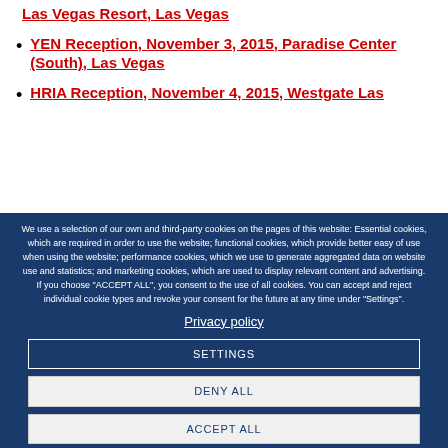Las Vegas Resort, Las Vegas
YEN Reception, November 3, 2015, Paradise Center (South), Las Vegas
HRIA Reception, November 4, 2015, Westgate Las
We use a selection of our own and third-party cookies on the pages of this website: Essential cookies, which are required in order to use the website; functional cookies, which provide better easy of use when using the website; performance cookies, which we use to generate aggregated data on website use and statistics; and marketing cookies, which are used to display relevant content and advertising. If you choose "ACCEPT ALL", you consent to the use of all cookies. You can accept and reject individual cookie types and revoke your consent for the future at any time under "Settings".
Privacy policy
SETTINGS
DENY ALL
ACCEPT ALL